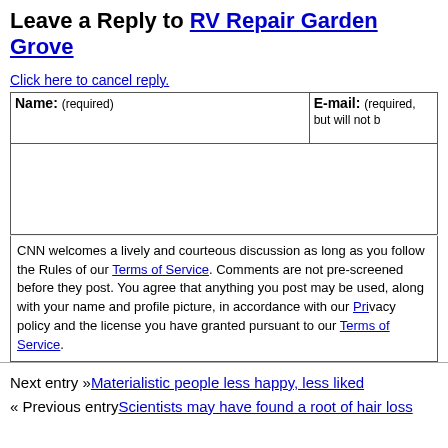Leave a Reply to RV Repair Garden Grove
Click here to cancel reply.
| Name: (required) | E-mail: (required, but will not be published) |
| --- | --- |
|  |
CNN welcomes a lively and courteous discussion as long as you follow the Rules of our Terms of Service. Comments are not pre-screened before they post. You agree that anything you post may be used, along with your name and profile picture, in accordance with our Privacy Policy and the license you have granted pursuant to our Terms of Service.
Next entry »Materialistic people less happy, less liked
« Previous entryScientists may have found a root of hair loss